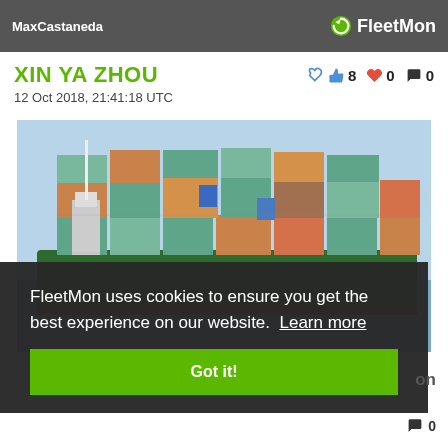MaxCastaneda | FleetMon
XIN YA ZHOU
👍 8  ❤ 0  💬 0
12 Oct 2018, 21:41:18 UTC
[Figure (photo): Large container ship with stacked multicolored shipping containers, green hull, white superstructure, photographed from the side on open water.]
FleetMon uses cookies to ensure you get the best experience on our website. Learn more
Got it!